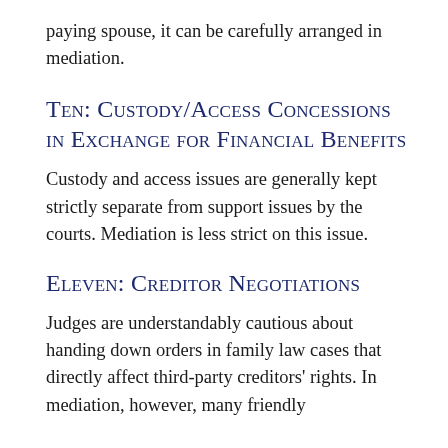paying spouse, it can be carefully arranged in mediation.
Ten: Custody/Access Concessions in Exchange for Financial Benefits
Custody and access issues are generally kept strictly separate from support issues by the courts. Mediation is less strict on this issue.
Eleven: Creditor Negotiations
Judges are understandably cautious about handing down orders in family law cases that directly affect third-party creditors' rights. In mediation, however, many friendly